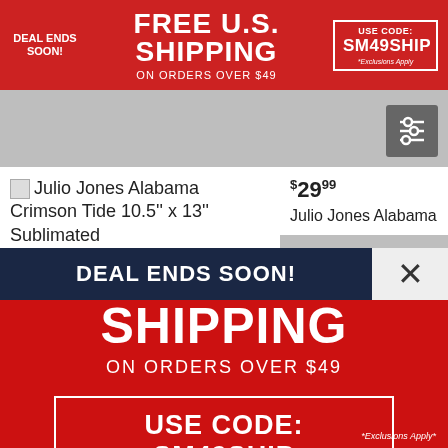DEAL ENDS SOON! FREE U.S. SHIPPING ON ORDERS OVER $49 USE CODE: SM49SHIP *Exclusions Apply
[Figure (screenshot): Gray product area with filter/sort icon]
Julio Jones Alabama Crimson Tide 10.5'' x 13'' Sublimated
$29.99 Julio Jones Alabama
DEAL ENDS SOON!
FREE U.S. SHIPPING
ON ORDERS OVER $49
USE CODE: SM49SHIP
*Exclusions Apply*